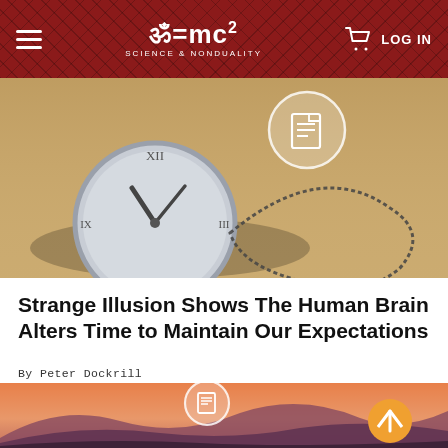ॐ=mc² SCIENCE & NONDUALITY | LOG IN
[Figure (photo): A clock face lying flat on sand with a chain necklace forming a teardrop shape around it, warm sandy tones]
Strange Illusion Shows The Human Brain Alters Time to Maintain Our Expectations
By Peter Dockrill
[Figure (photo): Mountain landscape at sunset with layered silhouettes in warm orange and purple tones, a small figure visible at bottom center]